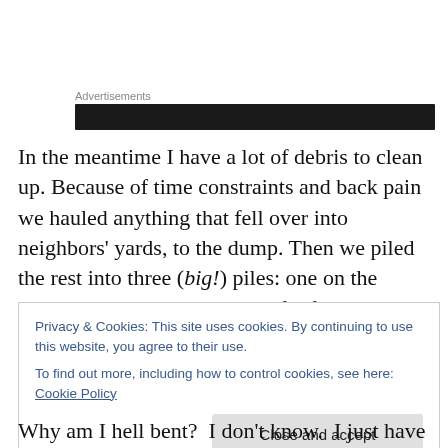[Figure (other): Advertisements label with dark banner/ad block below it]
In the meantime I have a lot of debris to clean up. Because of time constraints and back pain we hauled anything that fell over into neighbors' yards, to the dump. Then we piled the rest into three (big!) piles: one on the driveway, one under what's left of the mugo pine in the corner, and one in the middle of the lawn.  Why?  Because
Privacy & Cookies: This site uses cookies. By continuing to use this website, you agree to their use.
To find out more, including how to control cookies, see here: Cookie Policy
[Close and accept button]
Why am I hell bent?  I don't know.  I just have to.  It's one